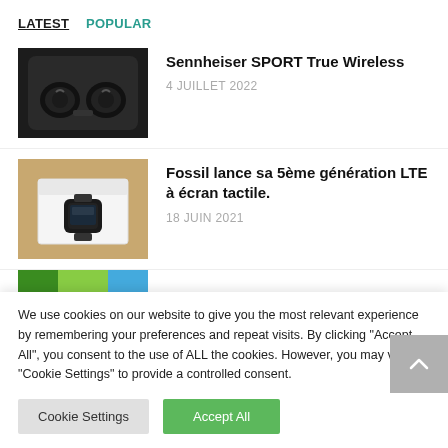LATEST  POPULAR
Sennheiser SPORT True Wireless
4 JUILLET 2022
Fossil lance sa 5ème génération LTE à écran tactile.
18 JUIN 2021
We use cookies on our website to give you the most relevant experience by remembering your preferences and repeat visits. By clicking "Accept All", you consent to the use of ALL the cookies. However, you may visit "Cookie Settings" to provide a controlled consent.